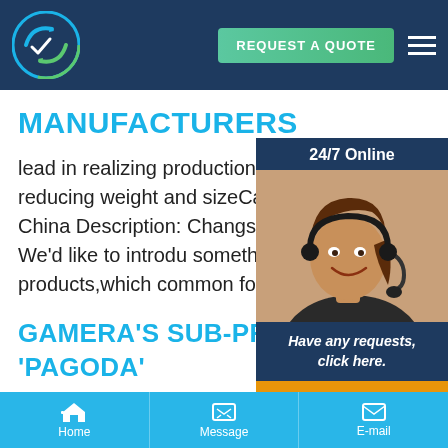[Figure (screenshot): Website navigation bar with circular logo (blue/green), 'REQUEST A QUOTE' green button, and hamburger menu icon on dark navy background]
MANUFACTURERS
lead in realizing production of low cost and reducing weight and sizeCategory: S Country: China Description: Changsha Yongsheng Metal We'd like to introduce something about our products,which common for most
[Figure (photo): 24/7 Online chat widget with woman wearing headset smiling, overlaid on right side of page. Includes 'Have any requests, click here.' text and orange Quotation button.]
GAMERA'S SUB-PROJECT 'PAGODA'
Home | Message | E-mail